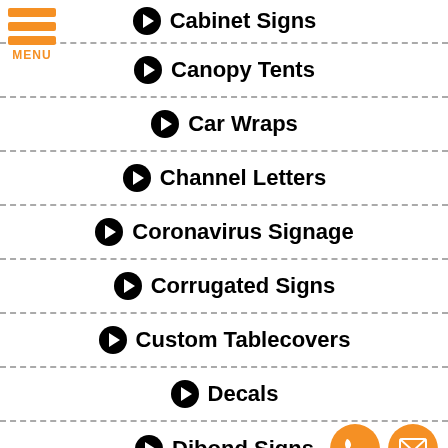Cabinet Signs
Canopy Tents
Car Wraps
Channel Letters
Coronavirus Signage
Corrugated Signs
Custom Tablecovers
Decals
Dibond Signs